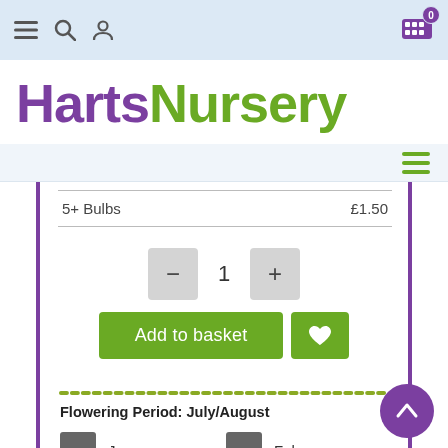HartsNursery — navigation bar with menu, search, user icons and cart (0)
HartsNursery
Secondary navigation bar with hamburger menu
| Product | Price |
| --- | --- |
| 5+ Bulbs | £1.50 |
Quantity selector: − 1 +
Add to basket | ♥
Flowering Period: July/August
Jan
Feb
Mar
Apr